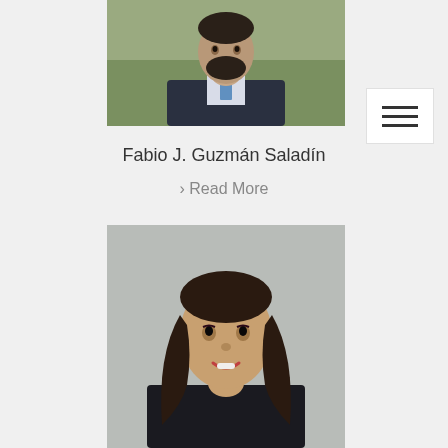[Figure (photo): Headshot of Fabio J. Guzmán Saladín, a man with dark beard wearing a navy suit and blue patterned tie, photographed outdoors]
[Figure (other): Hamburger menu icon — three horizontal lines on a white square button]
Fabio J. Guzmán Saladín
› Read More
[Figure (photo): Headshot of a woman with long dark hair, smiling, wearing dark clothing, photographed against a gray background]